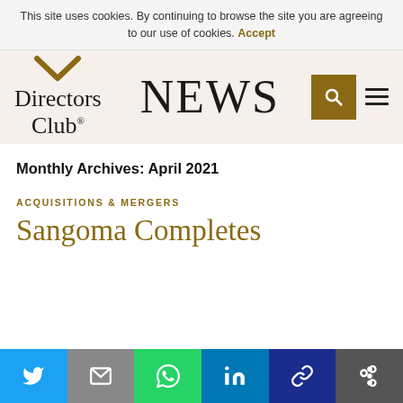This site uses cookies. By continuing to browse the site you are agreeing to our use of cookies. Accept
[Figure (logo): Directors Club News logo with gold chevron and serif text]
Monthly Archives: April 2021
ACQUISITIONS & MERGERS
Sangoma Completes
[Figure (infographic): Social sharing bar with Twitter, Email, WhatsApp, LinkedIn, Link, and More buttons]